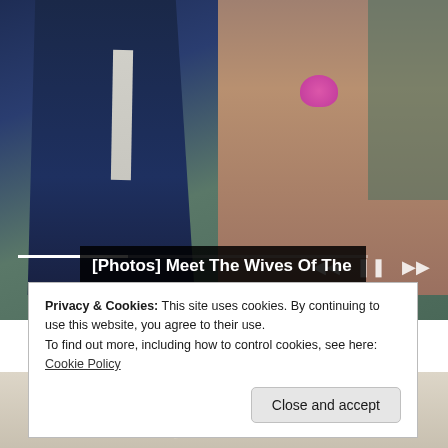[Figure (photo): A man in a dark navy suit with a tie and a woman with long auburn hair wearing a textured jacket with a pink flower brooch, sitting together. Video player controls (progress bar, skip buttons) are overlaid on the image.]
[Photos] Meet The Wives Of The Richest Men Alive
Sponsored by Bon Voyaged
[Figure (photo): Partially visible image showing what appears to be glasses or similar object on a light beige background.]
Privacy & Cookies: This site uses cookies. By continuing to use this website, you agree to their use.
To find out more, including how to control cookies, see here: Cookie Policy
Close and accept